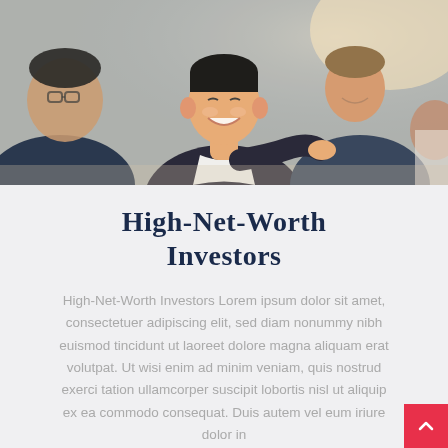[Figure (photo): Group of young professionals smiling and collaborating at a meeting table, business setting]
High-Net-Worth Investors
High-Net-Worth Investors Lorem ipsum dolor sit amet, consectetuer adipiscing elit, sed diam nonummy nibh euismod tincidunt ut laoreet dolore magna aliquam erat volutpat. Ut wisi enim ad minim veniam, quis nostrud exerci tation ullamcorper suscipit lobortis nisl ut aliquip ex ea commodo consequat. Duis autem vel eum iriure dolor in